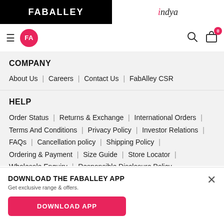FABALLEY | indya
COMPANY
About Us | Careers | Contact Us | FabAlley CSR
HELP
Order Status | Returns & Exchange | International Orders | Terms And Conditions | Privacy Policy | Investor Relations | FAQs | Cancellation policy | Shipping Policy | Ordering & Payment | Size Guide | Store Locator | Wholesale Enquiry | Responsible Disclosure Policy
DOWNLOAD THE FABALLEY APP
Get exclusive range & offers.
DOWNLOAD APP